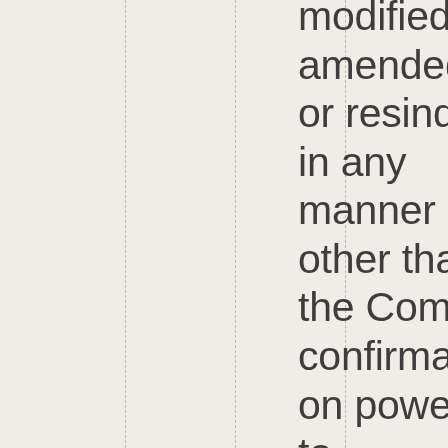modified, amended or resinded in any manner other than the Comey confirmation powers to investigate crimes arising out of fibbiness in the investigatio